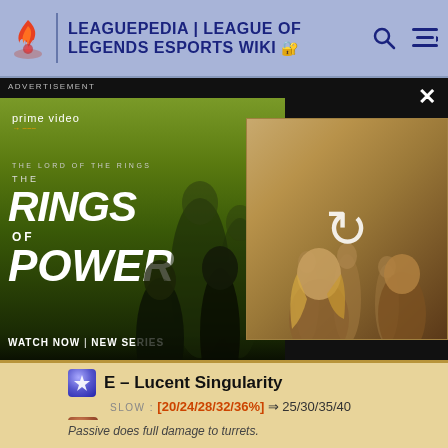LEAGUEPEDIA | LEAGUE OF LEGENDS ESPORTS WIKI
[Figure (photo): Amazon Prime Video advertisement for The Lord of the Rings: The Rings of Power. Shows 'WATCH NOW | NEW SERIES' with two panels: left panel shows two characters in a field, right panel shows a group of people with a refresh/reload icon overlay.]
E – Lucent Singularity
SLOW : [20/24/28/32/36%] ⇒ 25/30/35/40
Miss Fortune
Passive does full damage to turrets.
Miss Fortune's doing great at the things she's with Bullet Time. Unfortunately, she isn't pas to turrets. (We addressed the same issue wit be one of MF's strengths, it's not meant to